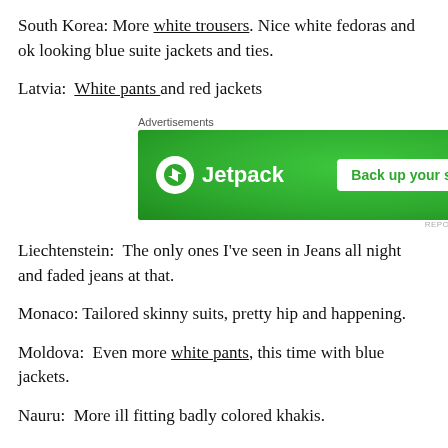South Korea: More white trousers. Nice white fedoras and ok looking blue suite jackets and ties.
Latvia:  White pants and red jackets
[Figure (other): Jetpack advertisement banner with green background, Jetpack logo on left and 'Back up your site' button on right]
Liechtenstein:  The only ones I've seen in Jeans all night and faded jeans at that.
Monaco: Tailored skinny suits, pretty hip and happening.
Moldova:  Even more white pants, this time with blue jackets.
Nauru:  More ill fitting badly colored khakis.